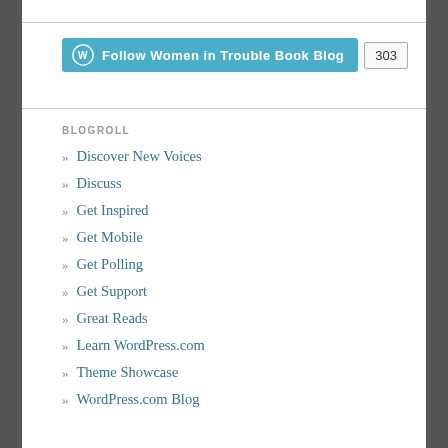[Figure (other): WordPress Follow button widget showing 'Follow Women in Trouble Book Blog' in teal/blue with count badge showing 303]
BLOGROLL
Discover New Voices
Discuss
Get Inspired
Get Mobile
Get Polling
Get Support
Great Reads
Learn WordPress.com
Theme Showcase
WordPress.com Blog